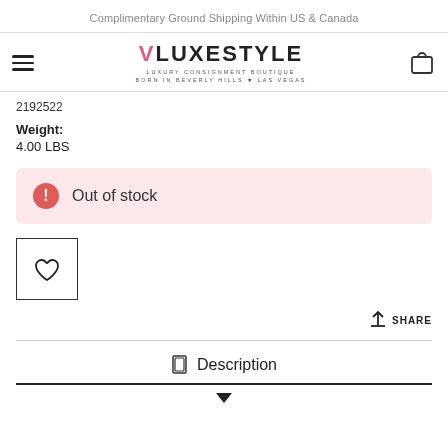Complimentary Ground Shipping Within US & Canada
[Figure (logo): VLuxeStyle logo with hamburger menu and cart icon navigation bar]
2192522
Weight:
4.00 LBS
Out of stock
[Figure (other): Wishlist heart button (outlined square with heart icon)]
SHARE
Description